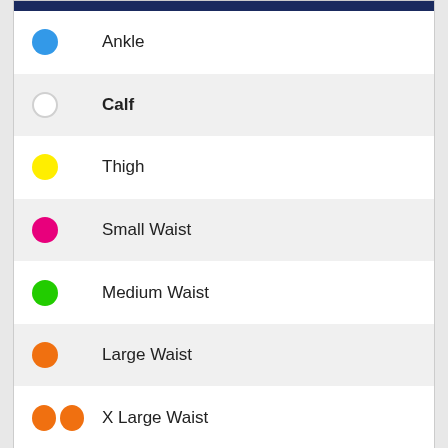Ankle
Calf
Thigh
Small Waist
Medium Waist
Large Waist
X Large Waist